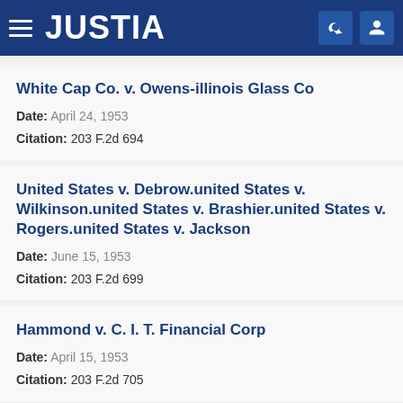JUSTIA
White Cap Co. v. Owens-illinois Glass Co
Date: April 24, 1953
Citation: 203 F.2d 694
United States v. Debrow.united States v. Wilkinson.united States v. Brashier.united States v. Rogers.united States v. Jackson
Date: June 15, 1953
Citation: 203 F.2d 699
Hammond v. C. I. T. Financial Corp
Date: April 15, 1953
Citation: 203 F.2d 705